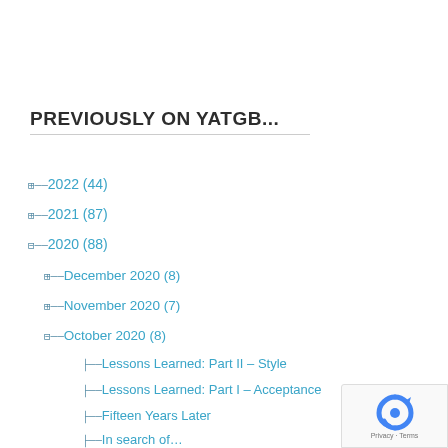PREVIOUSLY ON YATGB...
⊞ 2022 (44)
⊞ 2021 (87)
⊟ 2020 (88)
⊞ December 2020 (8)
⊞ November 2020 (7)
⊟ October 2020 (8)
Lessons Learned: Part II – Style
Lessons Learned: Part I – Acceptance
Fifteen Years Later
In search of…
A look back – October
When it all goes well
Short on time